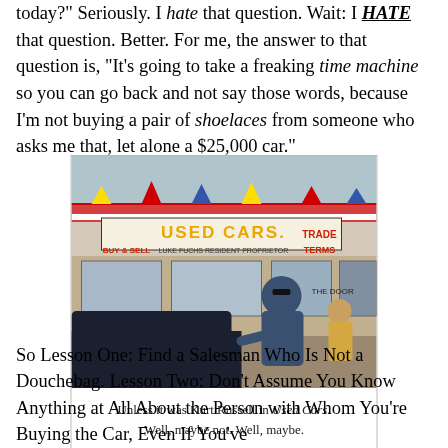today?" Seriously. I hate that question. Wait: I HATE that question. Better. For me, the answer to that question is, "It's going to take a freaking time machine so you can go back and not say those words, because I'm not buying a pair of shoelaces from someone who asks me that, let alone a $25,000 car."
[Figure (photo): A scene from the movie 'Used Cars' showing a man in sunglasses leaning on a car in front of a used car lot with a sign reading 'USED CARS. BUY & SELL. LUKE FUCHS RESIDENT PROPRIETOR. TRADE. TERMS.']
Unless it was Kurt Russell in Used Cars. Well, maybe not. Well, maybe.
So Lesson One: Find a Salesman Who Is Not a Douchebag. Lesson Two: Don't Assume You Know Anything at All About the Person with Whom You're Buying the Car, Even If You've